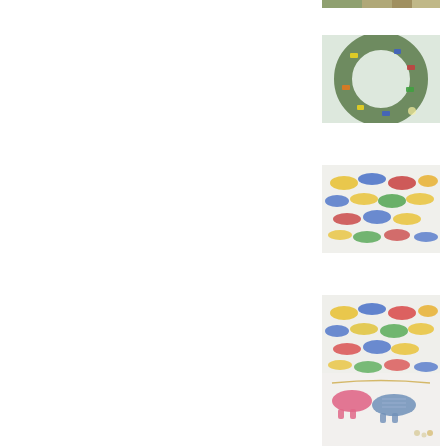[Figure (photo): Partial view of colorful animal figurine ornaments at the top right, cropped]
[Figure (photo): Christmas wreath decorated with colorful dachshund or dog-shaped ornaments in multiple colors on a white background]
[Figure (photo): Multiple colorful dog/dachshund ornaments laid out on a white surface, viewed from above, in various colors including blue, red, yellow, green, pink]
[Figure (photo): Multiple colorful dog/dachshund ornaments laid out on a white surface, similar to previous image with slightly different arrangement]
[Figure (photo): Close-up of colorful dachshund/dog ornaments hanging, showing detail of a pink and a patterned ornament]